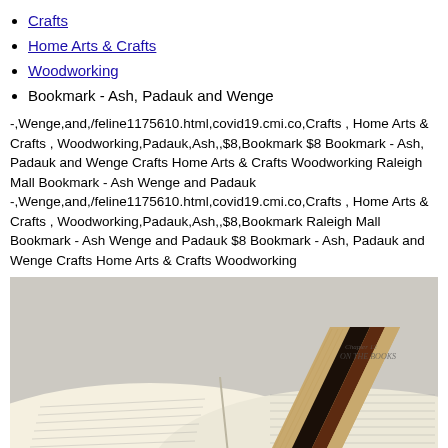Crafts
Home Arts & Crafts
Woodworking
Bookmark - Ash, Padauk and Wenge
-,Wenge,and,/feline1175610.html,covid19.cmi.co,Crafts , Home Arts & Crafts , Woodworking,Padauk,Ash,,$8,Bookmark $8 Bookmark - Ash, Padauk and Wenge Crafts Home Arts & Crafts Woodworking Raleigh Mall Bookmark - Ash Wenge and Padauk -,Wenge,and,/feline1175610.html,covid19.cmi.co,Crafts , Home Arts & Crafts , Woodworking,Padauk,Ash,,$8,Bookmark Raleigh Mall Bookmark - Ash Wenge and Padauk $8 Bookmark - Ash, Padauk and Wenge Crafts Home Arts & Crafts Woodworking
[Figure (photo): Wooden bookmark with alternating stripes of ash, padauk and wenge wood, placed across an open book]